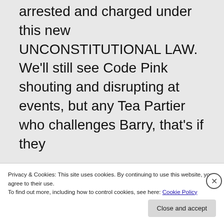arrested and charged under this new UNCONSTITUTIONAL LAW. We'll still see Code Pink shouting and disrupting at events, but any Tea Partier who challenges Barry, that's if they
Privacy & Cookies: This site uses cookies. By continuing to use this website, you agree to their use.
To find out more, including how to control cookies, see here: Cookie Policy